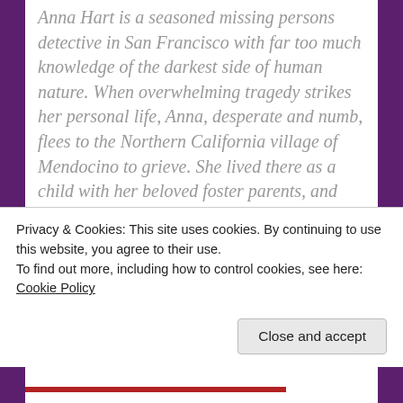Anna Hart is a seasoned missing persons detective in San Francisco with far too much knowledge of the darkest side of human nature. When overwhelming tragedy strikes her personal life, Anna, desperate and numb, flees to the Northern California village of Mendocino to grieve. She lived there as a child with her beloved foster parents, and now she believes it might be the only place left for her. Yet the day she arrives, she learns a local teenage girl has gone missing. The crime feels frighteningly reminiscent of the most crucial time in Anna's childhood, when the unsolved murder of a
Privacy & Cookies: This site uses cookies. By continuing to use this website, you agree to their use.
To find out more, including how to control cookies, see here: Cookie Policy
Close and accept